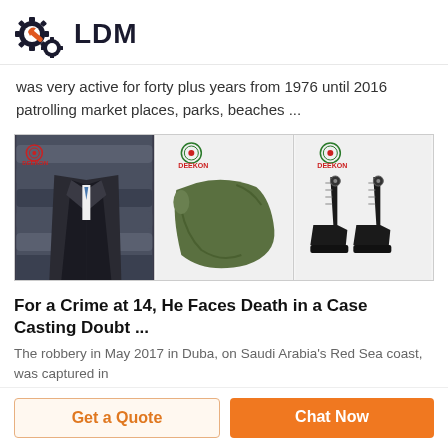LDM
was very active for forty plus years from 1976 until 2016 patrolling market places, parks, beaches ...
[Figure (photo): Three product images side by side: a dark suit jacket on mannequin with fabric rolls, a green military sleeping bag with DEEKON logo, and black tactical boots with DEEKON logo]
For a Crime at 14, He Faces Death in a Case Casting Doubt ...
The robbery in May 2017 in Duba, on Saudi Arabia's Red Sea coast, was captured in
Get a Quote
Chat Now